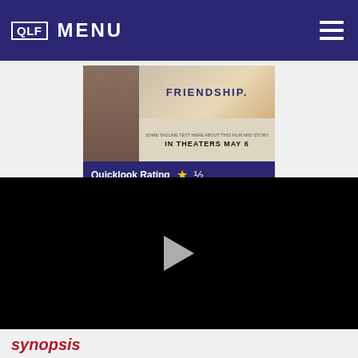QLF MENU
[Figure (photo): Movie poster showing a woman's face and text 'FRIENDSHIP' with 'IN THEATERS MAY 6' at the bottom]
Quicklook Rating ★½
[Figure (screenshot): Black video player with a play button triangle in the center]
synopsis
Rachel is a talented attorney at a top New York law firm, a